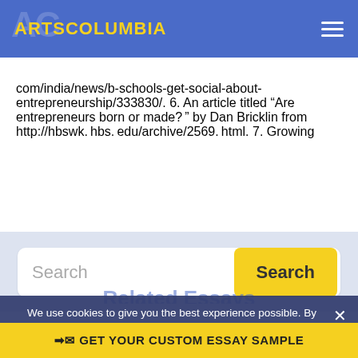ARTSCOLUMBIA
com/india/news/b-schools-get-social-about-entrepreneurship/333830/. 6. An article titled “Are entrepreneurs born or made?” by Dan Bricklin from http://hbswk. hbs. edu/archive/2569. html. 7. Growing
[Figure (screenshot): Search box with text placeholder 'Search' and a yellow 'Search' button]
We use cookies to give you the best experience possible. By continuing we’ll assume you’re on board with our cookie policy
GET YOUR CUSTOM ESSAY SAMPLE